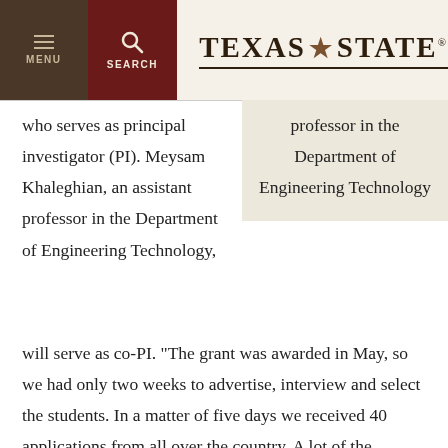[Figure (screenshot): Texas State University navigation bar with menu button, search button, and Texas State logo with star]
who serves as principal investigator (PI). Meysam Khaleghian, an assistant professor in the Department of Engineering Technology, will serve as co-PI. "The grant was awarded in May, so we had only two weeks to advertise, interview and select the students. In a matter of five days we received 40 applications from all over the country. A lot of the applications came from research universities, like Clemson or Virginia Tech or the
professor in the Department of Engineering Technology